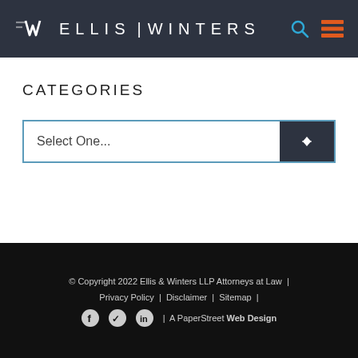ELLIS | WINTERS
CATEGORIES
Select One...
© Copyright 2022 Ellis & Winters LLP Attorneys at Law | Privacy Policy | Disclaimer | Sitemap | A PaperStreet Web Design